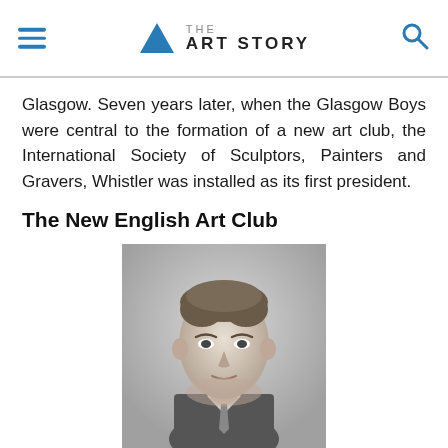THE ART STORY
Glasgow. Seven years later, when the Glasgow Boys were central to the formation of a new art club, the International Society of Sculptors, Painters and Gravers, Whistler was installed as its first president.
The New English Art Club
[Figure (photo): Black and white portrait photograph of a young man with wavy hair, wearing a suit and tie, facing slightly to the right.]